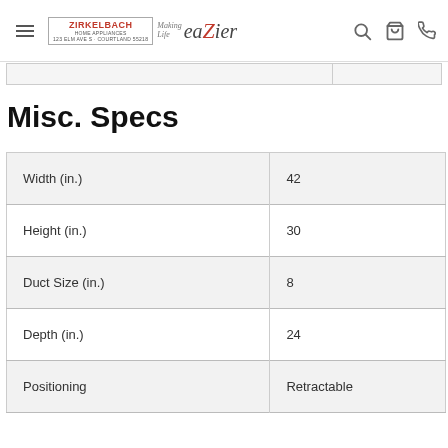Zirkelbach Home Appliances - Making Life eaZier
Misc. Specs
|  |  |
| --- | --- |
| Width (in.) | 42 |
| Height (in.) | 30 |
| Duct Size (in.) | 8 |
| Depth (in.) | 24 |
| Positioning | Retractable |